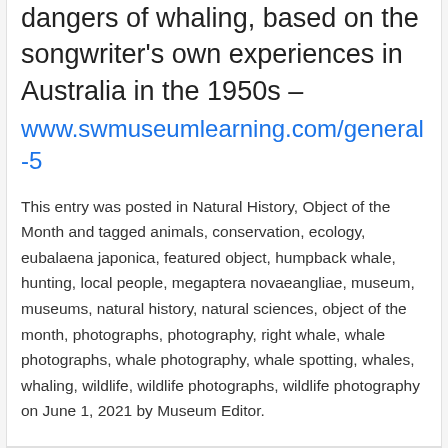dangers of whaling, based on the songwriter's own experiences in Australia in the 1950s –
www.swmuseumlearning.com/general-5
This entry was posted in Natural History, Object of the Month and tagged animals, conservation, ecology, eubalaena japonica, featured object, humpback whale, hunting, local people, megaptera novaeangliae, museum, museums, natural history, natural sciences, object of the month, photographs, photography, right whale, whale photographs, whale photography, whale spotting, whales, whaling, wildlife, wildlife photographs, wildlife photography on June 1, 2021 by Museum Editor.